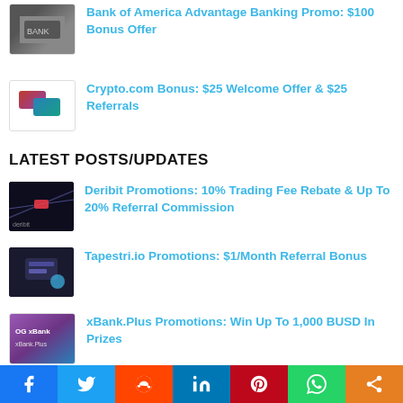Bank of America Advantage Banking Promo: $100 Bonus Offer
Crypto.com Bonus: $25 Welcome Offer & $25 Referrals
LATEST POSTS/UPDATES
Deribit Promotions: 10% Trading Fee Rebate & Up To 20% Referral Commission
Tapestri.io Promotions: $1/Month Referral Bonus
xBank.Plus Promotions: Win Up To 1,000 BUSD In Prizes
f  Twitter  Reddit  in  Pinterest  WhatsApp  Share